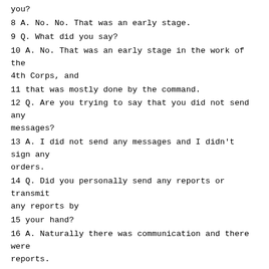you?
8 A. No. No. That was an early stage.
9 Q. What did you say?
10 A. No. That was an early stage in the work of the 4th Corps, and
11 that was mostly done by the command.
12 Q. Are you trying to say that you did not send any messages?
13 A. I did not send any messages and I didn't sign any orders.
14 Q. Did you personally send any reports or transmit any reports by
15 your hand?
16 A. Naturally there was communication and there were reports.
17 Q. Written reports.
18 A. Yes.
19 Q. I'm sorry for speeding. This is all due to the lack of time.